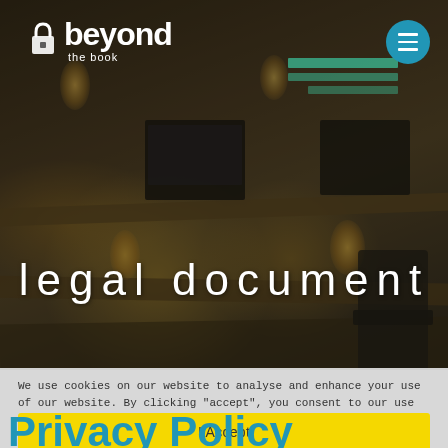[Figure (photo): Office workspace background with desks, monitors, hanging light bulbs, and chairs — dark/warm toned photo used as hero banner background]
beyond the book
legal document
We use cookies on our website to analyse and enhance your use of our website. By clicking "accept", you consent to our use of cookies in accordance with our Cookie Policy. For further information regarding our use of cookies including available controls. More
I Accept
Privacy Policy